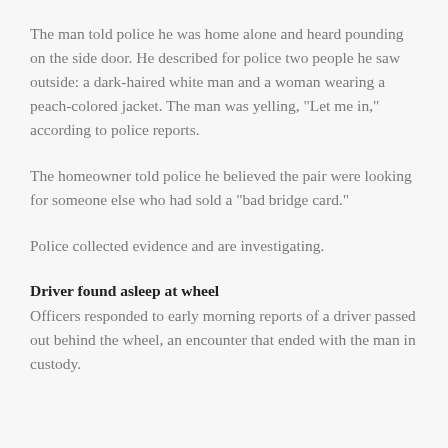The man told police he was home alone and heard pounding on the side door. He described for police two people he saw outside: a dark-haired white man and a woman wearing a peach-colored jacket. The man was yelling, "Let me in," according to police reports.
The homeowner told police he believed the pair were looking for someone else who had sold a "bad bridge card."
Police collected evidence and are investigating.
Driver found asleep at wheel
Officers responded to early morning reports of a driver passed out behind the wheel, an encounter that ended with the man in custody.